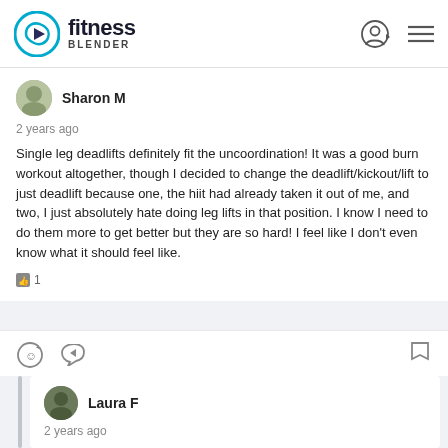fitness blender
Sharon M
2 years ago
Single leg deadlifts definitely fit the uncoordination! It was a good burn workout altogether, though I decided to change the deadlift/kickout/lift to just deadlift because one, the hiit had already taken it out of me, and two, I just absolutely hate doing leg lifts in that position. I know I need to do them more to get better but they are so hard! I feel like I don't even know what it should feel like.
1
Laura F
2 years ago